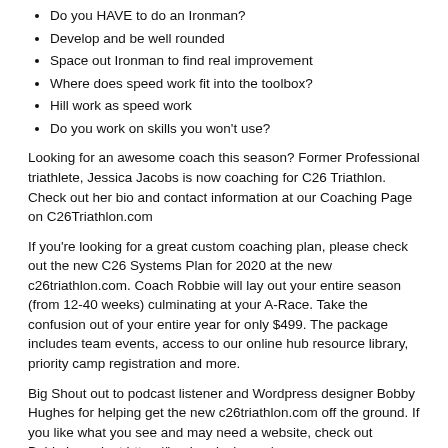Do you HAVE to do an Ironman?
Develop and be well rounded
Space out Ironman to find real improvement
Where does speed work fit into the toolbox?
Hill work as speed work
Do you work on skills you won't use?
Looking for an awesome coach this season? Former Professional triathlete, Jessica Jacobs is now coaching for C26 Triathlon. Check out her bio and contact information at our Coaching Page on C26Triathlon.com
If you're looking for a great custom coaching plan, please check out the new C26 Systems Plan for 2020 at the new c26triathlon.com. Coach Robbie will lay out your entire season (from 12-40 weeks) culminating at your A-Race. Take the confusion out of your entire year for only $499. The package includes team events, access to our online hub resource library, priority camp registration and more.
Big Shout out to podcast listener and Wordpress designer Bobby Hughes for helping get the new c26triathlon.com off the ground. If you like what you see and may need a website, check out Bobby's work at https://hughesdesign.co/
You can also slide by www.crushingiron.com which is now the official blog page for the podcast. Community and coaching information are at www.c26triathlon.com
Our 2020 C26 Camps are sold out (other than swim camp) Find out more on